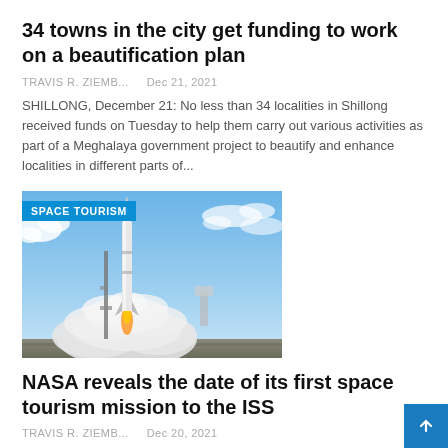34 towns in the city get funding to work on a beautification plan
TRAVIS R. ZIEMB...    Dec 21, 2021
SHILLONG, December 21: No less than 34 localities in Shillong received funds on Tuesday to help them carry out various activities as part of a Meghalaya government project to beautify and enhance localities in different parts of...
[Figure (photo): Rocket launch with 'SPACE TOURISM' label overlay — a rocket lifting off with large smoke clouds against a blue sky.]
NASA reveals the date of its first space tourism mission to the ISS
TRAVIS R. ZIEMB...    Dec 20, 2021
NASA aims to launch its first space tourism mission to the International Space Station (ISS) on February 28, 2022. The mission is being organized